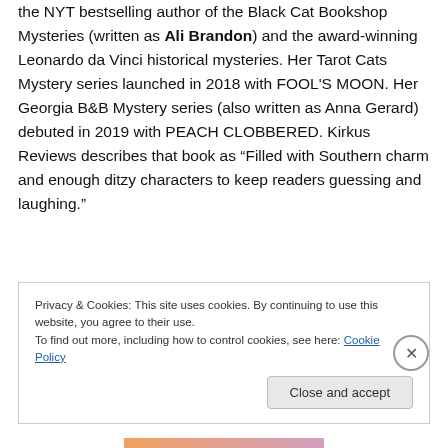the NYT bestselling author of the Black Cat Bookshop Mysteries (written as Ali Brandon) and the award-winning Leonardo da Vinci historical mysteries. Her Tarot Cats Mystery series launched in 2018 with FOOL'S MOON. Her Georgia B&B Mystery series (also written as Anna Gerard) debuted in 2019 with PEACH CLOBBERED. Kirkus Reviews describes that book as “Filled with Southern charm and enough ditzy characters to keep readers guessing and laughing.”
Privacy & Cookies: This site uses cookies. By continuing to use this website, you agree to their use. To find out more, including how to control cookies, see here: Cookie Policy
Close and accept